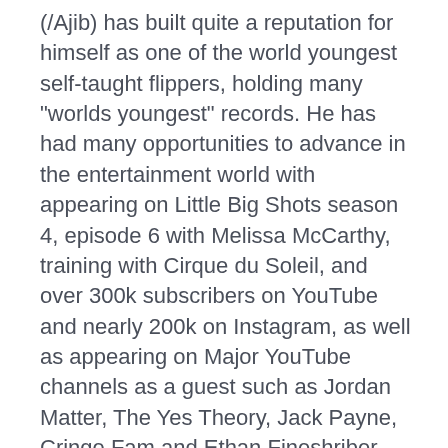(/Ajib) has built quite a reputation for himself as one of the world youngest self-taught flippers, holding many "worlds youngest" records. He has had many opportunities to advance in the entertainment world with appearing on Little Big Shots season 4, episode 6 with Melissa McCarthy, training with Cirque du Soleil, and over 300k subscribers on YouTube and nearly 200k on Instagram, as well as appearing on Major YouTube channels as a guest such as Jordan Matter, The Yes Theory, Jack Payne, Cringe Fam and Ethan Fineshriber just to name a few. Due to COVID19 and lost opportunities for other productions, life has taken a humble turn.
Fame and fortune has never been the motive, it's always been about